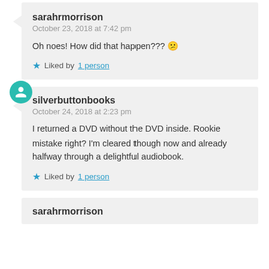sarahrmorrison
October 23, 2018 at 7:42 pm
Oh noes! How did that happen??? 😕
Liked by 1 person
silverbuttonbooks
October 24, 2018 at 2:23 pm
I returned a DVD without the DVD inside. Rookie mistake right? I'm cleared though now and already halfway through a delightful audiobook.
Liked by 1 person
sarahrmorrison